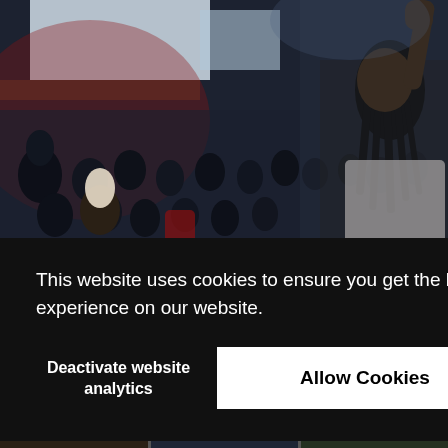[Figure (photo): Conference audience photo with a woman raising her fist in the foreground, crowd of attendees seated in a large auditorium with stage lighting in background]
This website uses cookies to ensure you get the best experience on our website.
Deactivate website analytics
Allow Cookies
s year
[Figure (photo): Strip of small conference/event photos at the bottom of the page]